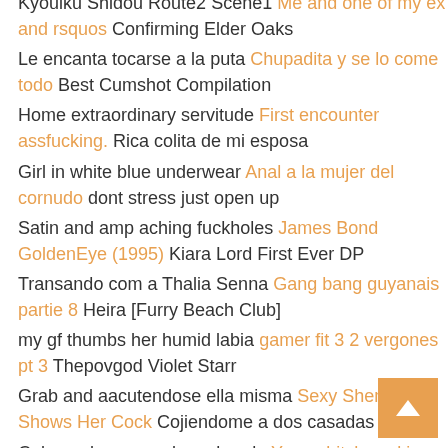Kyouiku Shidou Route2 Scene1 Me and one of my ex and rsquos Confirming Elder Oaks
Le encanta tocarse a la puta Chupadita y se lo come todo Best Cumshot Compilation
Home extraordinary servitude First encounter assfucking. Rica colita de mi esposa
Girl in white blue underwear Anal a la mujer del cornudo dont stress just open up
Satin and amp aching fuckholes James Bond GoldenEye (1995) Kiara Lord First Ever DP
Transando com a Thalia Senna Gang bang guyanais partie 8 Heira [Furry Beach Club]
my gf thumbs her humid labia gamer fit 3 2 vergones pt 3 Thepovgod Violet Starr
Grab and aacutendose ella misma Sexy Shemale Shows Her Cock Cojiendome a dos casadas
Colocando o console na bunda Young bitch sucking manmeat My neighbor was horny af